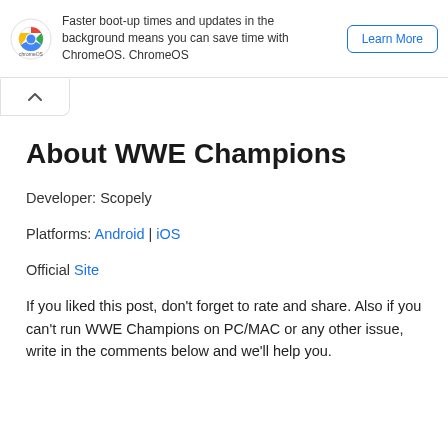Faster boot-up times and updates in the background means you can save time with ChromeOS. ChromeOS
About WWE Champions
Developer: Scopely
Platforms: Android | iOS
Official Site
If you liked this post, don't forget to rate and share. Also if you can't run WWE Champions on PC/MAC or any other issue, write in the comments below and we'll help you.